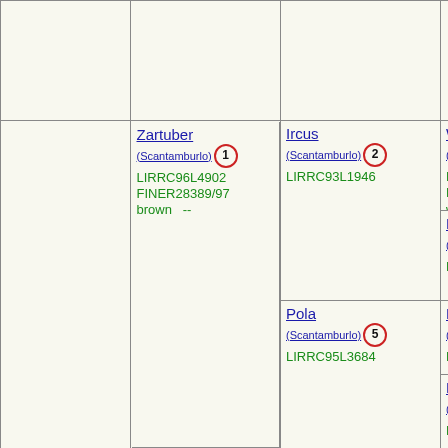|  |  |  |  |
|  |  | Ircus
(Scantamburlo) ②
LIRRC93L1946 | Waldo
(Scantamburlo) ③
LIRLA90L0104
LIRRC93L2054
white with brown A
Rita
(Scantamburlo) ④
LIRRC93L2030 |
| Zartuber
(Scantamburlo) ①
LIRRC96L4902
FINER28389/97
brown -- |  | Pola
(Scantamburlo) ⑤
LIRRC95L3684 | Birbo
(Scantamburlo) ⑥
LIRRC93L2059
Duma
(Scantamburlo) ⑦
LIRRC93L2692 |